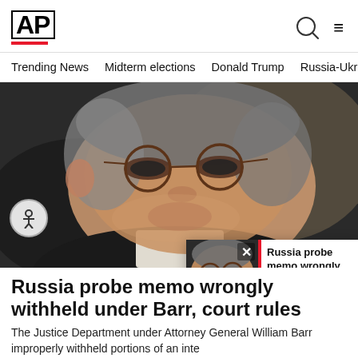[Figure (logo): AP (Associated Press) logo in bold black letters with red underbar]
Trending News   Midterm elections   Donald Trump   Russia-Ukr
[Figure (photo): Close-up photo of Attorney General William Barr wearing round glasses, looking sideways, in a dark suit]
[Figure (photo): Popup card showing a smaller photo of William Barr with close button and headline text]
Russia probe memo wrongly withheld under Barr, court rules
The Justice Department under Attorney General William Barr improperly withheld portions of an inte